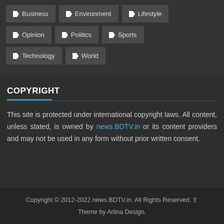Business
Environment
Lifestyle
Opinion
Politics
Sports
Technology
World
COPYRIGHT
This site is protected under international copyright laws. All content, unless stated, is owned by news.BDTV.in or its content providers and may not be used in any form without prior written consent.
Copyright © 2012-2022 news.BDTV.in. All Rights Reserved. Theme by Arlina Design.